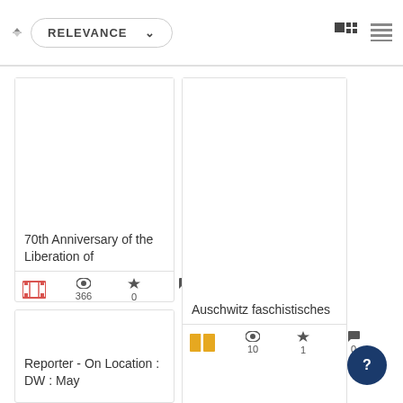RELEVANCE (sort dropdown with grid/list view icons)
[Figure (screenshot): Card: 70th Anniversary of the Liberation of - film icon, 366 views, 0 stars, 0 comments]
[Figure (screenshot): Card: Auschwitz faschistisches - book icon, 10 views, 1 star, 0 comments]
[Figure (screenshot): Card: Reporter - On Location : DW : May - partial card visible at bottom left]
[Figure (screenshot): Card: partial card visible at bottom right]
[Figure (other): Help/question mark button circle bottom right]